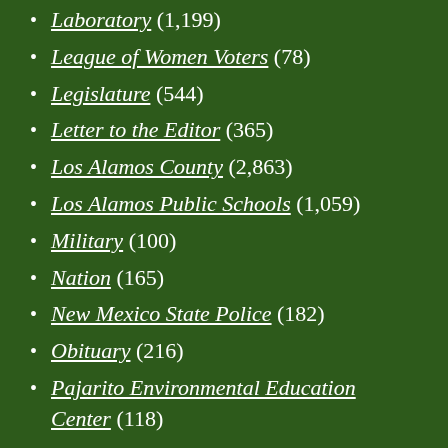Laboratory (1,199)
League of Women Voters (78)
Legislature (544)
Letter to the Editor (365)
Los Alamos County (2,863)
Los Alamos Public Schools (1,059)
Military (100)
Nation (165)
New Mexico State Police (182)
Obituary (216)
Pajarito Environmental Education Center (118)
Performing Arts (284)
Police (812)
Politics (1,101)
Public Safety (864)
Region (2,330)